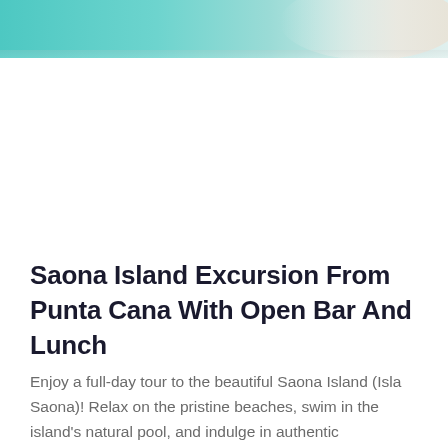[Figure (photo): Partial view of a tropical beach scene showing turquoise/teal water and white sand, cropped at the top of the page]
Saona Island Excursion From Punta Cana With Open Bar And Lunch
Enjoy a full-day tour to the beautiful Saona Island (Isla Saona)! Relax on the pristine beaches, swim in the island's natural pool, and indulge in authentic